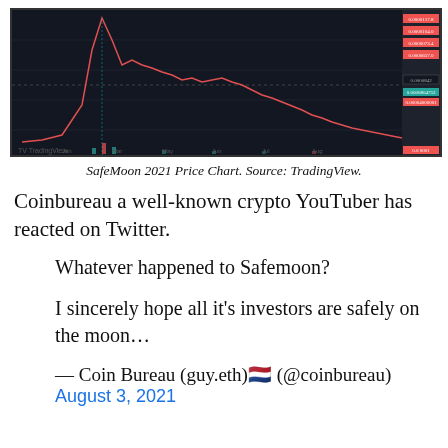[Figure (continuous-plot): SafeMoon 2021 price chart from TradingView showing a large spike followed by a sharp decline and continued downtrend. Dark background with red/green candlesticks and price labels on the right side.]
SafeMoon 2021 Price Chart. Source: TradingView.
Coinbureau a well-known crypto YouTuber has reacted on Twitter.
Whatever happened to Safemoon?
I sincerely hope all it’s investors are safely on the moon…
— Coin Bureau (guy.eth)🇳🇱 (@coinbureau)
August 3, 2021